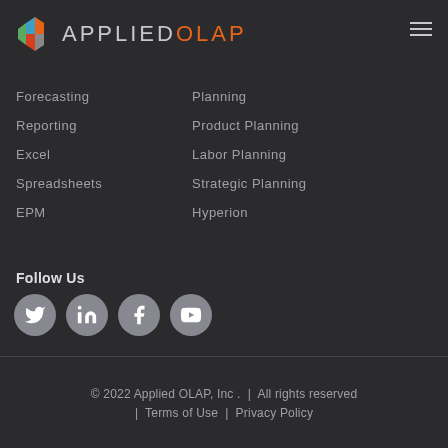[Figure (logo): Applied OLAP logo with geometric hexagon icon and text APPLIEDOLAP where OLAP is in orange]
Forecasting
Planning
Reporting
Product Planning
Excel
Labor Planning
Spreadsheets
Strategic Planning
EPM
Hyperion
Follow Us
[Figure (illustration): Social media icons: Twitter, LinkedIn, Facebook, YouTube — grey circles with white icons]
© 2022 Applied OLAP, Inc . | All rights reserved | Terms of Use | Privacy Policy